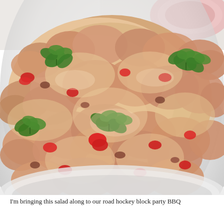[Figure (photo): A white bowl containing a creamy chicken or potato salad with red bell pepper pieces and fresh green cilantro leaves on top, with a pink and white bowl partially visible in the background upper right. The food is dressed in a creamy sauce and photographed from a slightly overhead angle.]
I'm bringing this salad along to our road hockey block party BBQ